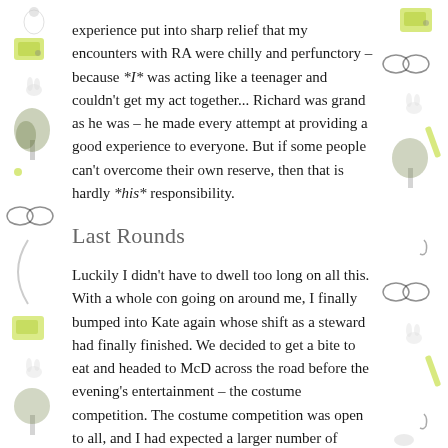experience put into sharp relief that my encounters with RA were chilly and perfunctory – because *I* was acting like a teenager and couldn't get my act together... Richard was grand as he was – he made every attempt at providing a good experience to everyone. But if some people can't overcome their own reserve, then that is hardly *his* responsibility.
Last Rounds
Luckily I didn't have to dwell too long on all this. With a whole con going on around me, I finally bumped into Kate again whose shift as a steward had finally finished. We decided to get a bite to eat and headed to McD across the road before the evening's entertainment – the costume competition. The costume competition was open to all, and I had expected a larger number of people to take part, but in the end the 20 or so costumes made up for the lack in numbers by the quality and work that had been